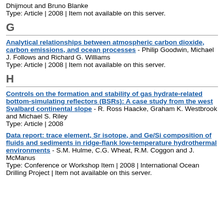Dhijmout and Bruno Blanke
Type: Article | 2008 | Item not available on this server.
G
Analytical relationships between atmospheric carbon dioxide, carbon emissions, and ocean processes - Philip Goodwin, Michael J. Follows and Richard G. Williams
Type: Article | 2008 | Item not available on this server.
H
Controls on the formation and stability of gas hydrate-related bottom-simulating reflectors (BSRs): A case study from the west Svalbard continental slope - R. Ross Haacke, Graham K. Westbrook and Michael S. Riley
Type: Article | 2008
Data report: trace element, Sr isotope, and Ge/Si composition of fluids and sediments in ridge-flank low-temperature hydrothermal environments - S.M. Hulme, C.G. Wheat, R.M. Coggon and J. McManus
Type: Conference or Workshop Item | 2008 | International Ocean Drilling Project | Item not available on this server.